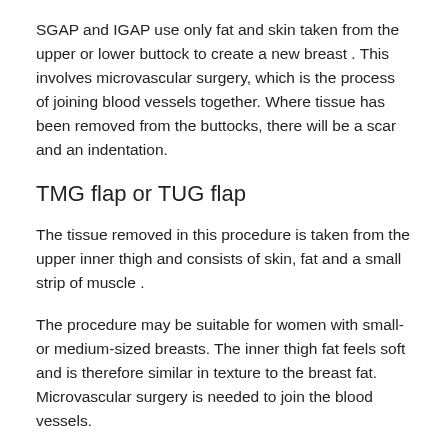SGAP and IGAP use only fat and skin taken from the upper or lower buttock to create a new breast . This involves microvascular surgery, which is the process of joining blood vessels together. Where tissue has been removed from the buttocks, there will be a scar and an indentation.
TMG flap or TUG flap
The tissue removed in this procedure is taken from the upper inner thigh and consists of skin, fat and a small strip of muscle .
The procedure may be suitable for women with small- or medium-sized breasts. The inner thigh fat feels soft and is therefore similar in texture to the breast fat. Microvascular surgery is needed to join the blood vessels.